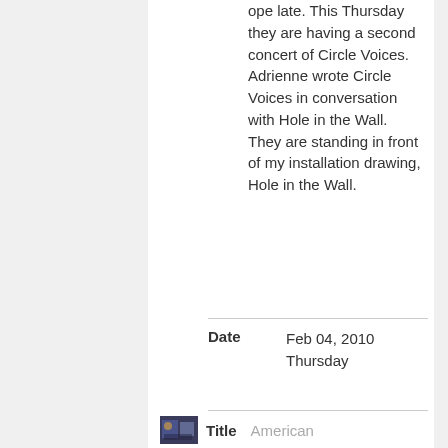ope late. This Thursday they are having a second concert of Circle Voices. Adrienne wrote Circle Voices in conversation with Hole in the Wall. They are standing in front of my installation drawing, Hole in the Wall.
|  |  |
| --- | --- |
| Date | Feb 04, 2010 Thursday |
| Title | American |